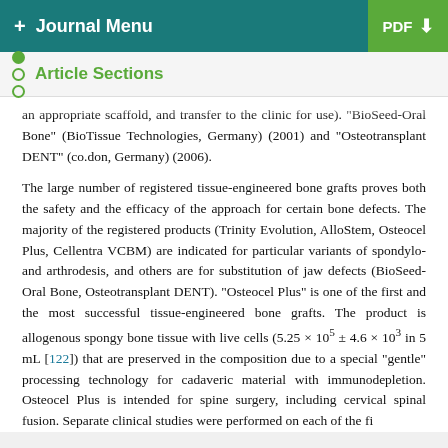+ Journal Menu   PDF ↓
Article Sections
an appropriate scaffold, and transfer to the clinic for use). "BioSeed-Oral Bone" (BioTissue Technologies, Germany) (2001) and "Osteotransplant DENT" (co.don, Germany) (2006).
The large number of registered tissue-engineered bone grafts proves both the safety and the efficacy of the approach for certain bone defects. The majority of the registered products (Trinity Evolution, AlloStem, Osteocel Plus, Cellentra VCBM) are indicated for particular variants of spondylo- and arthrodesis, and others are for substitution of jaw defects (BioSeed-Oral Bone, Osteotransplant DENT). "Osteocel Plus" is one of the first and the most successful tissue-engineered bone grafts. The product is allogenous spongy bone tissue with live cells (5.25 × 10⁵ ± 4.6 × 10³ in 5 mL [122]) that are preserved in the composition due to a special "gentle" processing technology for cadaveric material with immunodepletion. Osteocel Plus is intended for spine surgery, including cervical spinal fusion. Separate clinical studies were performed on each of the fi...